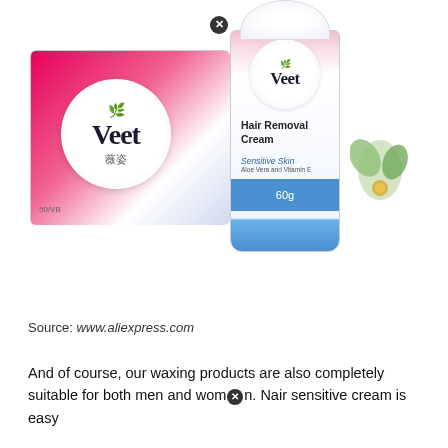[Figure (photo): Photo of Veet hair removal products: a pink Veet box with Chinese text (薇姿) on the left, and a Veet Hair Removal Cream tube (60g, Sensitive Skin, Aloe Vera and Vitamin E) on the right, on a white background. A close/X icon appears at the top center.]
Source: www.aliexpress.com
And of course, our waxing products are also completely suitable for both men and women. Nair sensitive cream is easy